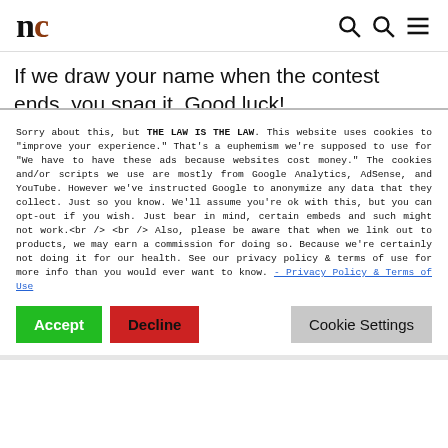nc
If we draw your name when the contest ends, you snag it. Good luck!
P.S. While you're waiting for tomorrow to get here so you can enter again...be sure and check out the Hilliest Travel Guide
Sorry about this, but THE LAW IS THE LAW. This website uses cookies to "improve your experience." That's a euphemism we're supposed to use for "We have to have these ads because websites cost money." The cookies and/or scripts we use are mostly from Google Analytics, AdSense, and YouTube. However we've instructed Google to anonymize any data that they collect. Just so you know. We'll assume you're ok with this, but you can opt-out if you wish. Just bear in mind, certain embeds and such might not work.<br /> <br /> Also, please be aware that when we link out to products, we may earn a commission for doing so. Because we're certainly not doing it for our health. See our privacy policy & terms of use for more info than you would ever want to know. - Privacy Policy & Terms of Use